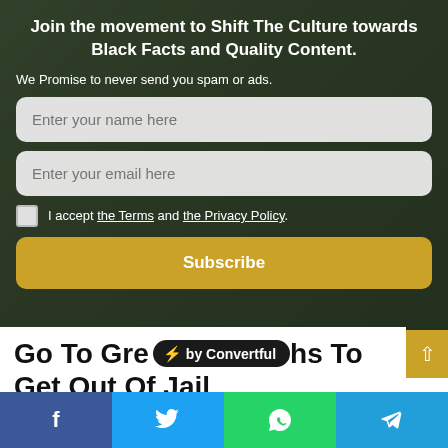Join the movement to Shift The Culture towards Black Facts and Quality Content.
We Promise to never send you spam or ads.
Enter your name here
Enter your email here
I accept the Terms and the Privacy Policy.
Subscribe
Go To Gre[at Leng]ths To Get Out Of Jail
by Convertful
blacknewsdaily · July 22, 2021  0  14  2 minutes read